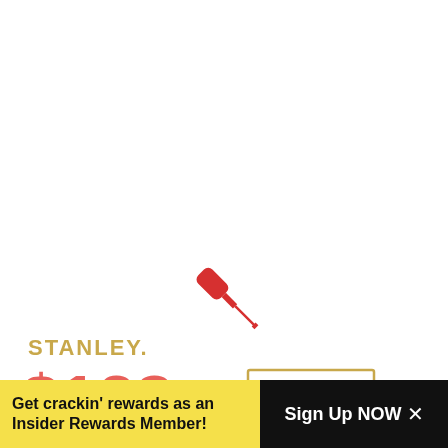[Figure (illustration): A red screwdriver icon on a white background, positioned diagonally in the center of the upper portion of the page]
STANLEY.
$128
[Figure (infographic): Low Price Guarantee badge with red border text on top and red banner on bottom, partially visible on right side]
FREE...
1
Add to Cart
Get crackin' rewards as an Insider Rewards Member!
Sign Up NOW ×